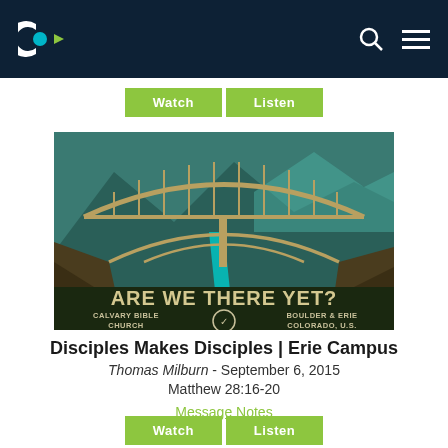[Figure (logo): Calvary Bible Church logo - stylized C with teal circle and arrow, white text, on dark navy background navigation bar]
[Figure (illustration): Sermon series artwork: 'ARE WE THERE YET?' showing a stylized bridge over a canyon with teal water, dark green mountains, text: CALVARY BIBLE CHURCH, BOULDER & ERIE, COLORADO, U.S.]
Disciples Makes Disciples | Erie Campus
Thomas Milburn - September 6, 2015
Matthew 28:16-20
Message Notes